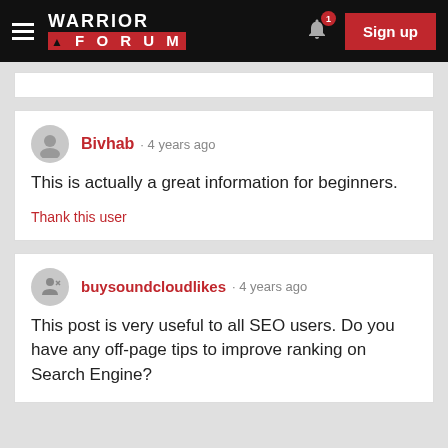Warrior Forum — Sign up
Bivhab · 4 years ago
This is actually a great information for beginners.
Thank this user
buysoundcloudlikes · 4 years ago
This post is very useful to all SEO users. Do you have any off-page tips to improve ranking on Search Engine?